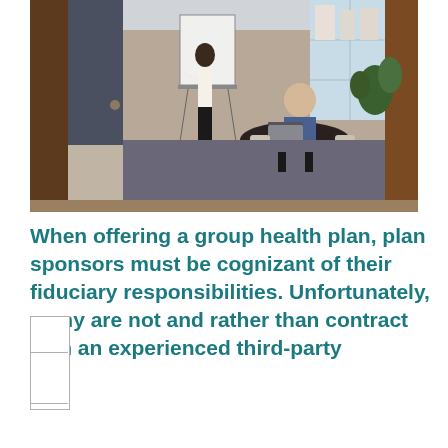[Figure (photo): Office scene viewed through an open doorway. A woman in a white top and black trousers stands at a whiteboard/flipchart. A man in a blue blazer sits at a round dark table with a laptop. Large windows in the background show buildings outside. Plants visible on the right side.]
When offering a group health plan, plan sponsors must be cognizant of their fiduciary responsibilities. Unfortunately, many are not and rather than contract with an experienced third-party